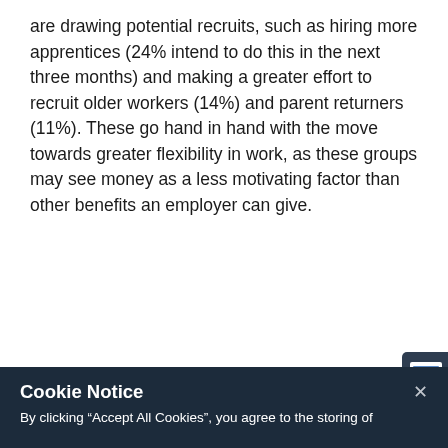are drawing potential recruits, such as hiring more apprentices (24% intend to do this in the next three months) and making a greater effort to recruit older workers (14%) and parent returners (11%). These go hand in hand with the move towards greater flexibility in work, as these groups may see money as a less motivating factor than other benefits an employer can give.
[Figure (screenshot): Cookie Notice modal overlay on a dark navy background with title 'Cookie Notice', body text explaining cookie usage, a 'Cookies policy' link, an 'Accept Cookies' yellow button, and a 'Cookies Settings' text link. An X close button is in the top right corner.]